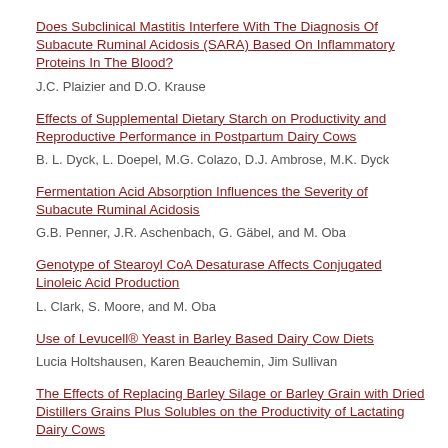Does Subclinical Mastitis Interfere With The Diagnosis Of Subacute Ruminal Acidosis (SARA) Based On Inflammatory Proteins In The Blood?
J.C. Plaizier and D.O. Krause
Effects of Supplemental Dietary Starch on Productivity and Reproductive Performance in Postpartum Dairy Cows
B. L. Dyck, L. Doepel, M.G. Colazo, D.J. Ambrose, M.K. Dyck
Fermentation Acid Absorption Influences the Severity of Subacute Ruminal Acidosis
G.B. Penner, J.R. Aschenbach, G. Gäbel, and M. Oba
Genotype of Stearoyl CoA Desaturase Affects Conjugated Linoleic Acid Production
L. Clark, S. Moore, and M. Oba
Use of Levucell® Yeast in Barley Based Dairy Cow Diets
Lucia Holtshausen, Karen Beauchemin, Jim Sullivan
The Effects of Replacing Barley Silage or Barley Grain with Dried Distillers Grains Plus Solubles on the Productivity of Lactating Dairy Cows